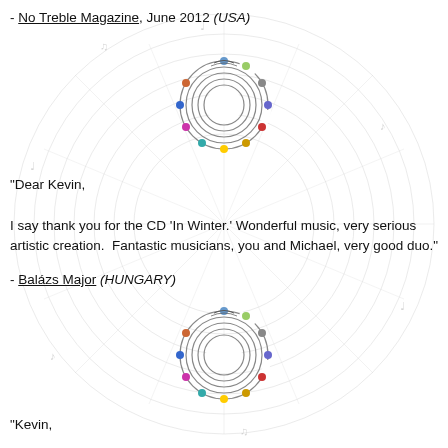- No Treble Magazine, June 2012 (USA)
[Figure (illustration): Circular music staff logo with colorful notes arranged in a ring, repeated twice on page as decorative element, overlaid on faint circular watermark diagram]
"Dear Kevin,

I say thank you for the CD 'In Winter.' Wonderful music, very serious artistic creation.  Fantastic musicians, you and Michael, very good duo."
- Balázs Major (HUNGARY)
"Kevin,

I don't think I told you how great the final version of your album with Michael sounds. The sound, sequencing, and mastering are